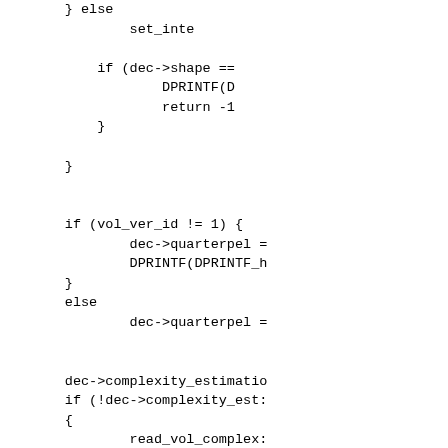} else
                set_inte

            if (dec->shape ==
                    DPRINTF(D
                    return -1
            }

        }


        if (vol_ver_id != 1) {
                dec->quarterpel =
                DPRINTF(DPRINTF_h
        }
        else
                dec->quarterpel =


        dec->complexity_estimatio
        if (!dec->complexity_est:
        {
                read_vol_complex:
        }

        BitstreamSkip(bs, 1);  A

        if (BitstreamGetBit(bs))
        {
                DPRINTF(DPRINTF_h